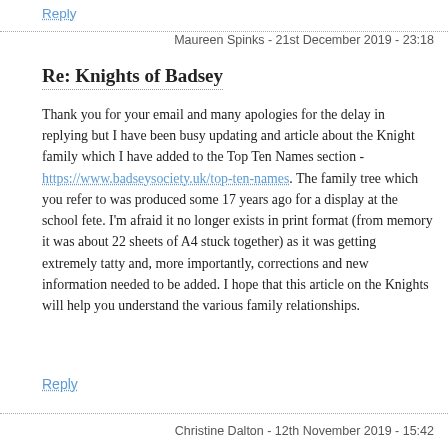Reply
Maureen Spinks - 21st December 2019 - 23:18
Re: Knights of Badsey
Thank you for your email and many apologies for the delay in replying but I have been busy updating and article about the Knight family which I have added to the Top Ten Names section - https://www.badseysociety.uk/top-ten-names. The family tree which you refer to was produced some 17 years ago for a display at the school fete. I'm afraid it no longer exists in print format (from memory it was about 22 sheets of A4 stuck together) as it was getting extremely tatty and, more importantly, corrections and new information needed to be added. I hope that this article on the Knights will help you understand the various family relationships.
Reply
Christine Dalton - 12th November 2019 - 15:42